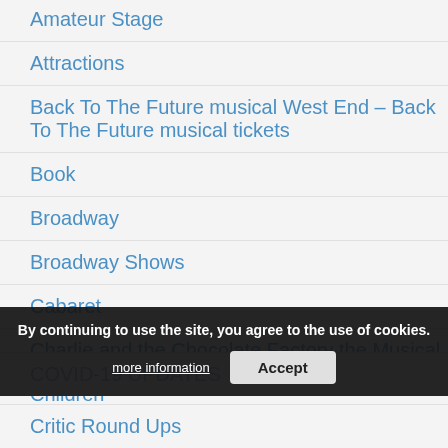Amateur Stage
Attractions
Back To The Future musical West End – Back To The Future musical tickets
Book
Broadway
Broadway Shows
Cabaret
Charlie and the Chocolate Factory the Musical
Children
Come From Away West End – Come From Away tickets
COVID-19 UPDATES
By continuing to use the site, you agree to the use of cookies.
Critic Round Ups